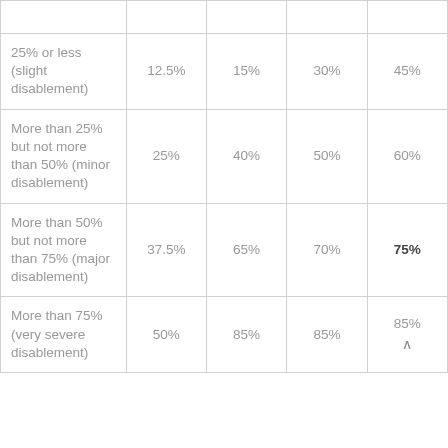|  |  |  |  |  |
| --- | --- | --- | --- | --- |
| 25% or less (slight disablement) | 12.5% | 15% | 30% | 45% |
| More than 25% but not more than 50% (minor disablement) | 25% | 40% | 50% | 60% |
| More than 50% but not more than 75% (major disablement) | 37.5% | 65% | 70% | 75% |
| More than 75% (very severe disablement) | 50% | 85% | 85% | 85% |